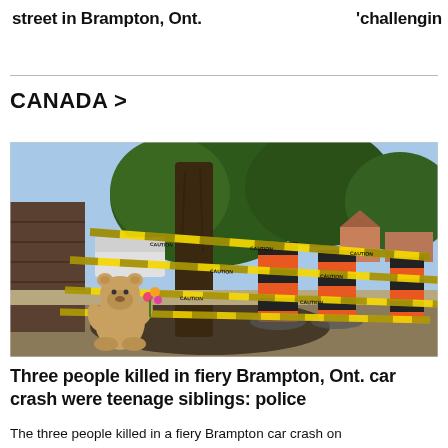street in Brampton, Ont.
'challengin
CANADA >
[Figure (photo): Crime scene photo showing a large tree and orange-and-black road bollards wrapped in yellow CAUTION tape. A teddy bear with flowers is placed at the base of the tree on dark scorched ground. Trees and suburban houses are visible in the background under a partly cloudy sky.]
Three people killed in fiery Brampton, Ont. car crash were teenage siblings: police
The three people killed in a fiery Brampton car crash on